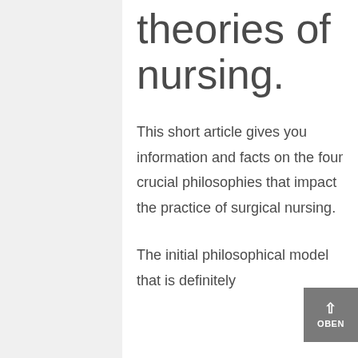theories of nursing.
This short article gives you information and facts on the four crucial philosophies that impact the practice of surgical nursing.
The initial philosophical model that is definitely